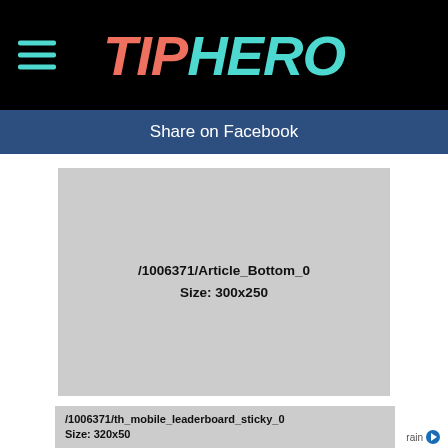TIPHERO
Share on Facebook
[Figure (other): Ad placeholder: /1006371/Article_Bottom_0 Size: 300x250]
[Figure (other): Ad placeholder: /1006371/th_mobile_leaderboard_sticky_0 Size: 320x50]